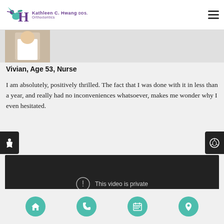Kathleen C. Hwang DDS Orthodontics
[Figure (photo): Partial photo of patient Vivian, showing torso in white top]
Vivian, Age 53, Nurse
I am absolutely, positively thrilled. The fact that I was done with it in less than a year, and really had no inconveniences whatsoever, makes me wonder why I even hesitated.
[Figure (screenshot): Embedded video player showing message: This video is private]
Navigation bar with home, phone, calendar, and location icons